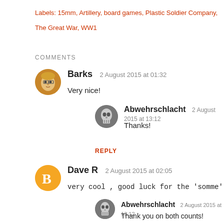Labels: 15mm, Artillery, board games, Plastic Soldier Company,
The Great War, WW1
COMMENTS
Barks   2 August 2015 at 01:32
Very nice!
Abwehrschlacht   2 August 2015 at 13:12
Thanks!
REPLY
Dave R   2 August 2015 at 02:05
very cool , good luck for the 'somme'
Abwehrschlacht   2 August 2015 at 13:12
Thank you on both counts!